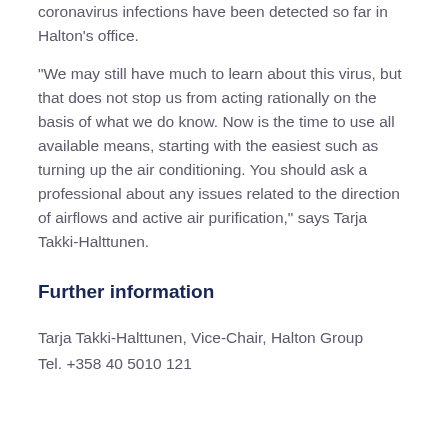coronavirus infections have been detected so far in Halton's office.
"We may still have much to learn about this virus, but that does not stop us from acting rationally on the basis of what we do know. Now is the time to use all available means, starting with the easiest such as turning up the air conditioning. You should ask a professional about any issues related to the direction of airflows and active air purification," says Tarja Takki-Halttunen.
Further information
Tarja Takki-Halttunen, Vice-Chair, Halton Group
Tel. +358 40 5010 121